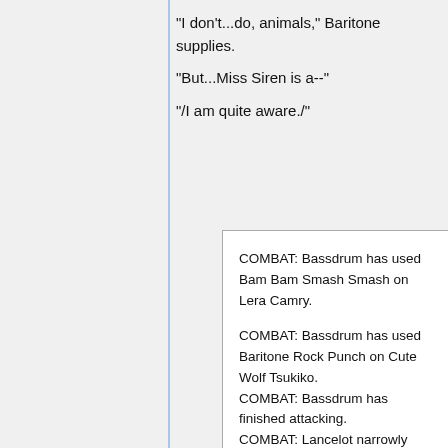"I don't...do, animals," Baritone supplies.
"But...Miss Siren is a--"
"/I am quite aware./"
COMBAT: Bassdrum has used Bam Bam Smash Smash on Lera Camry.

COMBAT: Bassdrum has used Baritone Rock Punch on Cute Wolf Tsukiko.
COMBAT: Bassdrum has finished attacking.
COMBAT: Lancelot narrowly braces Lamia's Mind Games, taking 11 Fatigue damage!